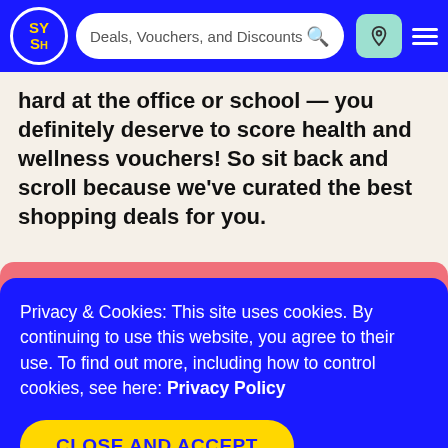Deals, Vouchers, and Discounts
hard at the office or school — you definitely deserve to score health and wellness vouchers! So sit back and scroll because we've curated the best shopping deals for you.
Privacy & Cookies: This site uses cookies. By continuing to use this website, you agree to their use. To find out more, including how to control cookies, see here: Privacy Policy
CLOSE AND ACCEPT